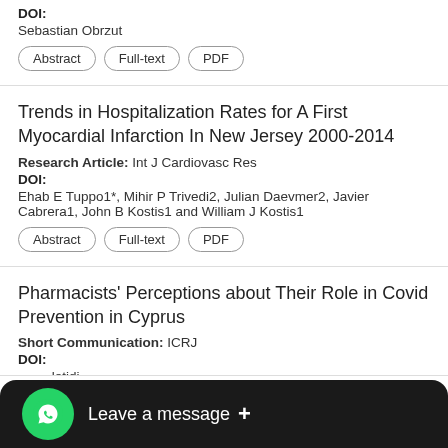DOI:
Sebastian Obrzut
Abstract | Full-text | PDF
Trends in Hospitalization Rates for A First Myocardial Infarction In New Jersey 2000-2014
Research Article: Int J Cardiovasc Res
DOI:
Ehab E Tuppo1*, Mihir P Trivedi2, Julian Daevmer2, Javier Cabrera1, John B Kostis1 and William J Kostis1
Abstract | Full-text | PDF
Pharmacists' Perceptions about Their Role in Covid Prevention in Cyprus
Short Communication: ICRJ
DOI:
eletidi
Leave a message +